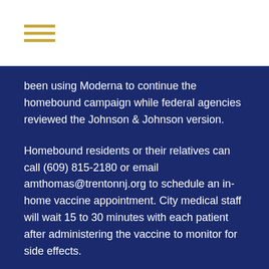been using Moderna to continue the homebound campaign while federal agencies reviewed the Johnson & Johnson version.
Homebound residents or their relatives can call (609) 815-2180 or email amthomas@trentonnj.org to schedule an in-home vaccine appointment. City medical staff will wait 15 to 30 minutes with each patient after administering the vaccine to monitor for side effects.